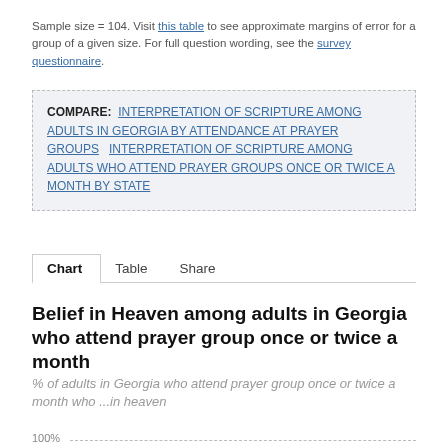Sample size = 104. Visit this table to see approximate margins of error for a group of a given size. For full question wording, see the survey questionnaire.
COMPARE: INTERPRETATION OF SCRIPTURE AMONG ADULTS IN GEORGIA BY ATTENDANCE AT PRAYER GROUPS   INTERPRETATION OF SCRIPTURE AMONG ADULTS WHO ATTEND PRAYER GROUPS ONCE OR TWICE A MONTH BY STATE
Chart   Table   Share
Belief in Heaven among adults in Georgia who attend prayer group once or twice a month
% of adults in Georgia who attend prayer group once or twice a month who ...in heaven
100%